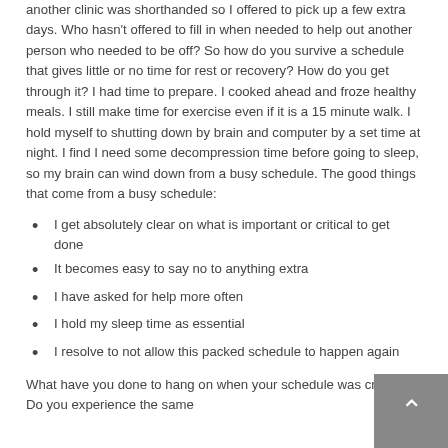another clinic was shorthanded so I offered to pick up a few extra days. Who hasn't offered to fill in when needed to help out another person who needed to be off? So how do you survive a schedule that gives little or no time for rest or recovery? How do you get through it? I had time to prepare. I cooked ahead and froze healthy meals. I still make time for exercise even if it is a 15 minute walk. I hold myself to shutting down by brain and computer by a set time at night. I find I need some decompression time before going to sleep, so my brain can wind down from a busy schedule. The good things that come from a busy schedule:
I get absolutely clear on what is important or critical to get done
It becomes easy to say no to anything extra
I have asked for help more often
I hold my sleep time as essential
I resolve to not allow this packed schedule to happen again
What have you done to hang on when your schedule was crazy? Do you experience the same